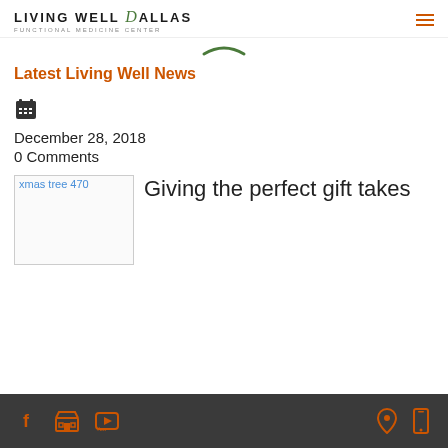LIVING WELL DALLAS Functional Medicine Center
[Figure (illustration): Green arc/smile decoration element]
Latest Living Well News
[Figure (illustration): Calendar icon]
December 28, 2018
0 Comments
[Figure (photo): xmas tree 470 - broken image placeholder]
Giving the perfect gift takes
Social and contact icons: Facebook, Store, YouTube, Location, Mobile